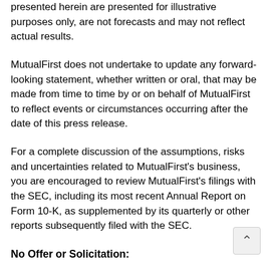presented herein are presented for illustrative purposes only, are not forecasts and may not reflect actual results.
MutualFirst does not undertake to update any forward-looking statement, whether written or oral, that may be made from time to time by or on behalf of MutualFirst to reflect events or circumstances occurring after the date of this press release.
For a complete discussion of the assumptions, risks and uncertainties related to MutualFirst's business, you are encouraged to review MutualFirst's filings with the SEC, including its most recent Annual Report on Form 10-K, as supplemented by its quarterly or other reports subsequently filed with the SEC.
No Offer or Solicitation: